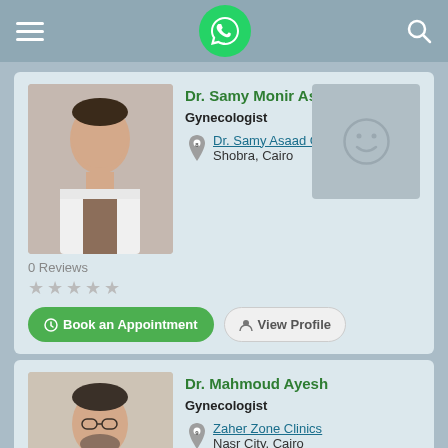Navigation bar with menu, WhatsApp button, and search icon
Dr. Samy Monir Asaad MBChB - Gynecologist - Dr. Samy Asaad Clinic - Shobra, Cairo - 0 Reviews
Book an Appointment | View Profile
Dr. Mahmoud Ayesh - Gynecologist - Zaher Zone Clinics - Nasr City, Cairo - 0 Reviews